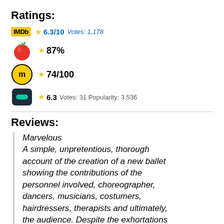Ratings:
IMDb ★6.3/10 Votes: 1,178
★87%
★74/100
★6.3 Votes: 31 Popularity: 3.536
Reviews:
Marvelous
A simple, unpretentious, thorough account of the creation of a new ballet showing the contributions of the personnel involved, choreographer, dancers, musicians, costumers, hairdressers, therapists and ultimately, the audience. Despite the exhortations of politicians and the press, my heroes are not the young people sending drones out to menace peasants in